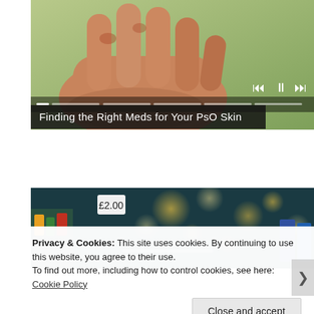[Figure (photo): Close-up of a person's hand with psoriasis symptoms, green background, with video player controls (skip back, pause, skip forward) and progress bar overlay visible]
Finding the Right Meds for Your PsO Skin
[Figure (photo): Pharmacy or drugstore aisle with blurred bokeh lights in the background, colorful product packaging visible]
Privacy & Cookies: This site uses cookies. By continuing to use this website, you agree to their use.
To find out more, including how to control cookies, see here: Cookie Policy
Close and accept